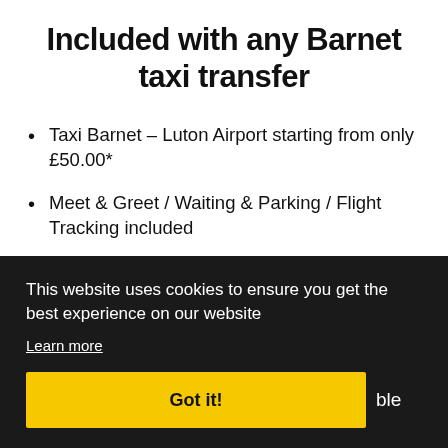Included with any Barnet taxi transfer
Taxi Barnet – Luton Airport starting from only £50.00*
Meet & Greet / Waiting & Parking / Flight Tracking included
Professional driver, clean car and reliable service
This website uses cookies to ensure you get the best experience on our website
Learn more
Got it!